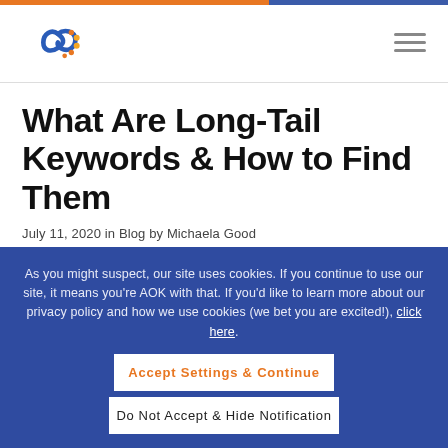What Are Long-Tail Keywords & How to Find Them
July 11, 2020 in Blog by Michaela Good
As you might suspect, our site uses cookies. If you continue to use our site, it means you're AOK with that. If you'd like to learn more about our privacy policy and how we use cookies (we bet you are excited!), click here.
Accept Settings & Continue
Do Not Accept & Hide Notification